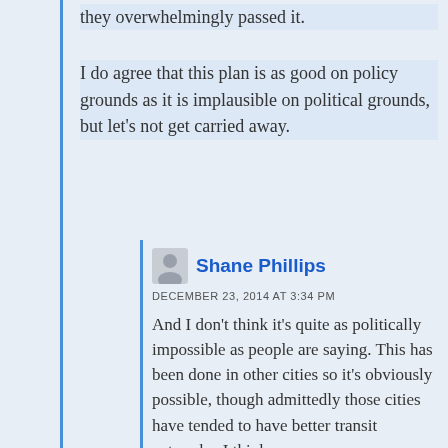they overwhelmingly passed it.
I do agree that this plan is as good on policy grounds as it is implausible on political grounds, but let's not get carried away.
Shane Phillips
DECEMBER 23, 2014 AT 3:34 PM
And I don't think it's quite as politically impossible as people are saying. This has been done in other cities so it's obviously possible, though admittedly those cities have tended to have better transit networks. I think you